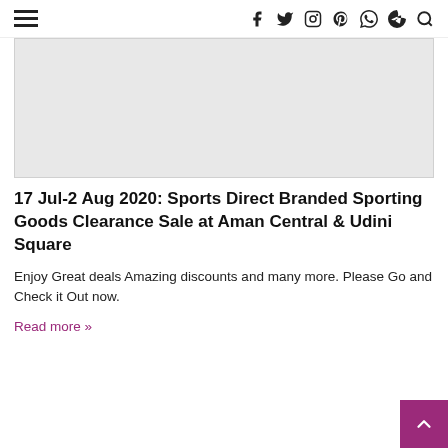≡  f  𝕏  ◻  ℗  ◉  ✈  🔍
[Figure (photo): Grey rectangular image placeholder]
17 Jul-2 Aug 2020: Sports Direct Branded Sporting Goods Clearance Sale at Aman Central & Udini Square
Enjoy Great deals Amazing discounts and many more. Please Go and Check it Out now.
Read more »